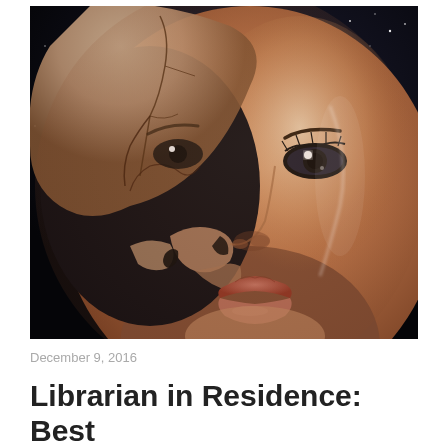[Figure (illustration): A digitally rendered illustration of a woman's face looking upward against a dark starry background. Her face appears to have a cracked, peeling mask effect revealing darkness beneath, particularly on the left side of her face. The right side of her face is realistic with glowing skin. The image has a surreal, science-fiction aesthetic.]
December 9, 2016
Librarian in Residence: Best books for adults, 2016